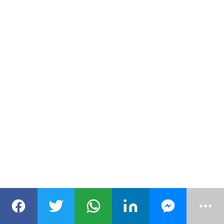7. Data usage call timer: With a sharp eye on your data
[Figure (infographic): Social media share bar with buttons: Facebook (blue), Twitter (light blue), WhatsApp (green), LinkedIn (dark blue), Messenger (bright blue), More (gray)]